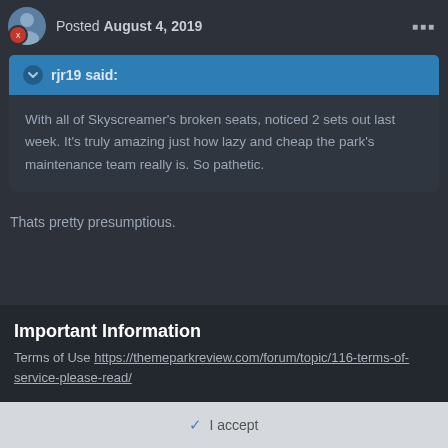Posted August 4, 2019
rjr19 said:
With all of Skyscreamer's broken seats, noticed 2 sets out last week. It's truly amazing just how lazy and cheap the park's maintenance team really is. So pathetic.
Thats pretty presumptious.
Important Information
Terms of Use https://themeparkreview.com/forum/topic/116-terms-of-service-please-read/
✓ I accept